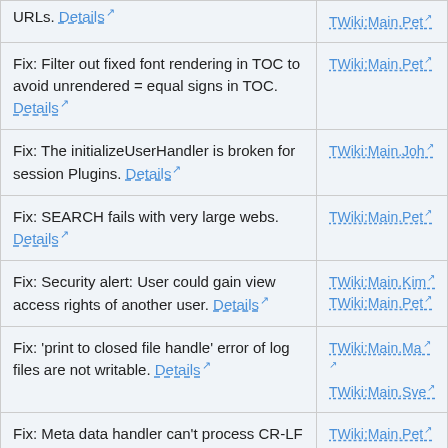| Description | Contributor |
| --- | --- |
| URLs. Details | TWiki:Main.Pet |
| Fix: Filter out fixed font rendering in TOC to avoid unrendered = equal signs in TOC. Details | TWiki:Main.Pet |
| Fix: The initializeUserHandler is broken for session Plugins. Details | TWiki:Main.Joh |
| Fix: SEARCH fails with very large webs. Details | TWiki:Main.Pet |
| Fix: Security alert: User could gain view access rights of another user. Details | TWiki:Main.Kim
TWiki:Main.Pet |
| Fix: 'print to closed file handle' error of log files are not writable. Details | TWiki:Main.Ma
TWiki:Main.Sve |
| Fix: Meta data handler can't process CR-LF line endings. Details | TWiki:Main.Pet |
| Fix: METAFIELD meta data is not shown in view raw=on mode. Details | TWiki:Main.Pet |